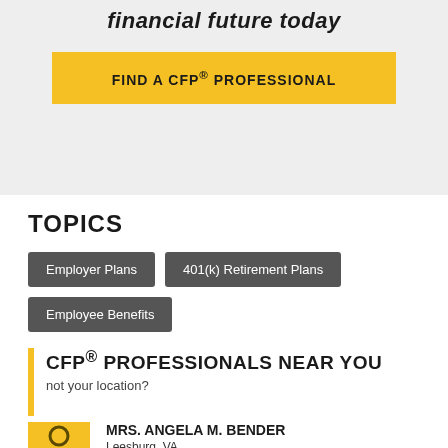financial future today
FIND A CFP® PROFESSIONAL
TOPICS
Employer Plans
401(k) Retirement Plans
Employee Benefits
CFP® PROFESSIONALS NEAR YOU
not your location?
MRS. ANGELA M. BENDER
Leesburg, VA
Planning Services Offered